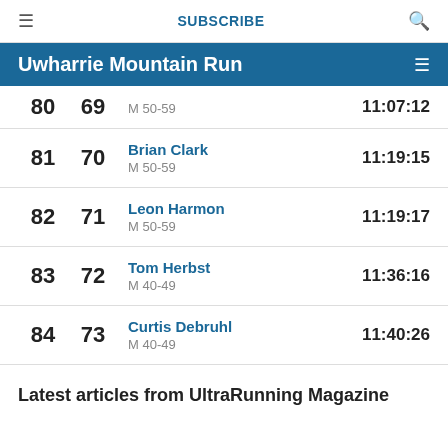≡   SUBSCRIBE   🔍
Uwharrie Mountain Run
| Overall | Age Group | Name / Category | Time |
| --- | --- | --- | --- |
| 80 | 69 | M 50-59 | 11:07:12 |
| 81 | 70 | Brian Clark
M 50-59 | 11:19:15 |
| 82 | 71 | Leon Harmon
M 50-59 | 11:19:17 |
| 83 | 72 | Tom Herbst
M 40-49 | 11:36:16 |
| 84 | 73 | Curtis Debruhl
M 40-49 | 11:40:26 |
Latest articles from UltraRunning Magazine